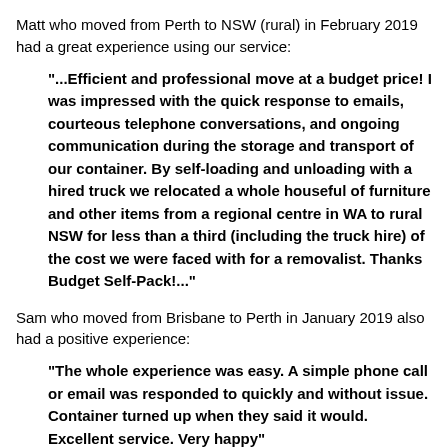Matt who moved from Perth to NSW (rural) in February 2019 had a great experience using our service:
"...Efficient and professional move at a budget price! I was impressed with the quick response to emails, courteous telephone conversations, and ongoing communication during the storage and transport of our container. By self-loading and unloading with a hired truck we relocated a whole houseful of furniture and other items from a regional centre in WA to rural NSW for less than a third (including the truck hire) of the cost we were faced with for a removalist. Thanks Budget Self-Pack!..."
Sam who moved from Brisbane to Perth in January 2019 also had a positive experience:
"The whole experience was easy. A simple phone call or email was responded to quickly and without issue. Container turned up when they said it would. Excellent service. Very happy"
Rachel who moved from Perth to Brisbane in December 2018 says: